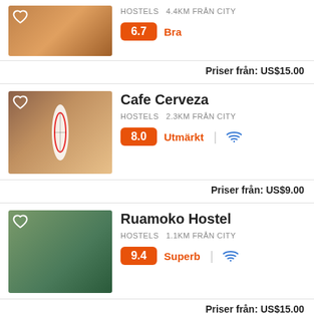Listing 1: HOSTELS 4.4km från city, Score: 6.7 Bra, Priser från: US$15.00
Cafe Cerveza, HOSTELS 2.3km från city, Score: 8.0 Utmärkt, WiFi, Priser från: US$9.00
Ruamoko Hostel, HOSTELS 1.1km från city, Score: 9.4 Superb, WiFi, Priser från: US$15.00
Hostel Sunset Villas